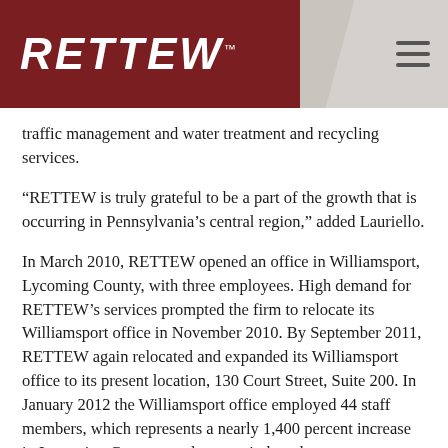RETTEW
traffic management and water treatment and recycling services.
“RETTEW is truly grateful to be a part of the growth that is occurring in Pennsylvania’s central region,” added Lauriello.
In March 2010, RETTEW opened an office in Williamsport, Lycoming County, with three employees. High demand for RETTEW’s services prompted the firm to relocate its Williamsport office in November 2010. By September 2011, RETTEW again relocated and expanded its Williamsport office to its present location, 130 Court Street, Suite 200. In January 2012 the Williamsport office employed 44 staff members, which represents a nearly 1,400 percent increase in Lycoming County employment in less than two years. RETTEW plans to hire 25 additional Williamsport employees by the end of 2012.
In November 2011, RETTEW opened its second office in the PBC region in Bradford County, located at 448 North Keystone Ave